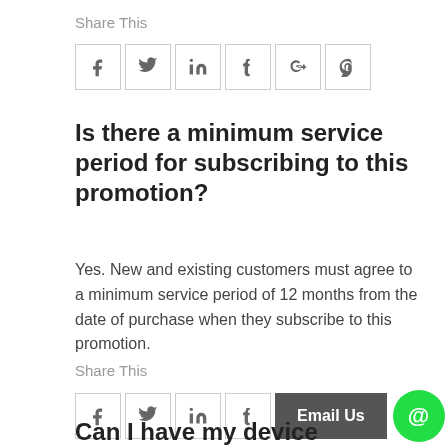Share This
[Figure (other): Social sharing icons: Facebook (f), Twitter (bird), LinkedIn (in), Tumblr (t), Google+ (G+), Pinterest (pin)]
Is there a minimum service period for subscribing to this promotion?
Yes. New and existing customers must agree to a minimum service period of 12 months from the date of purchase when they subscribe to this promotion.
Share This
[Figure (other): Social sharing icons: Facebook (f), Twitter (bird), LinkedIn (in), Tumblr (t), plus Email Us button and @ circle button]
Can I have my device delivered